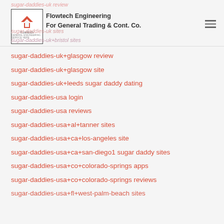Flowtech Engineering For General Trading & Cont. Co.
sugar-daddies-uk review
sugar-daddies-uk sites
sugar-daddies-uk+bristol sites
sugar-daddies-uk+glasgow review
sugar-daddies-uk+glasgow site
sugar-daddies-uk+leeds sugar daddy dating
sugar-daddies-usa login
sugar-daddies-usa reviews
sugar-daddies-usa+al+tanner sites
sugar-daddies-usa+ca+los-angeles site
sugar-daddies-usa+ca+san-diego1 sugar daddy sites
sugar-daddies-usa+co+colorado-springs apps
sugar-daddies-usa+co+colorado-springs reviews
sugar-daddies-usa+fl+west-palm-beach sites